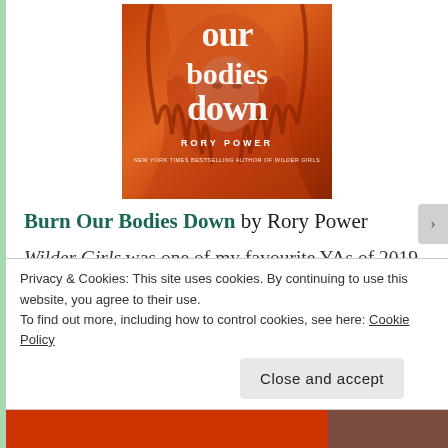[Figure (illustration): Book cover of 'Burn Our Bodies Down' by Rory Power. Orange and red illustrated cover featuring a woman's face surrounded by flames and braided hair. Text reads 'our bodies down', 'RORY POWER', 'NEW YORK TIMES BESTSELLING AUTHOR OF WILDER GIRLS'.]
Burn Our Bodies Down by Rory Power
Wilder Girls was one of my favourite YAs of 2019, and was also the book that helped introduce me to a whole new genre (horror!) So of course I bought a copy of Power's new horror Burn Our Bodies Down,
Privacy & Cookies: This site uses cookies. By continuing to use this website, you agree to their use.
To find out more, including how to control cookies, see here: Cookie Policy
Close and accept